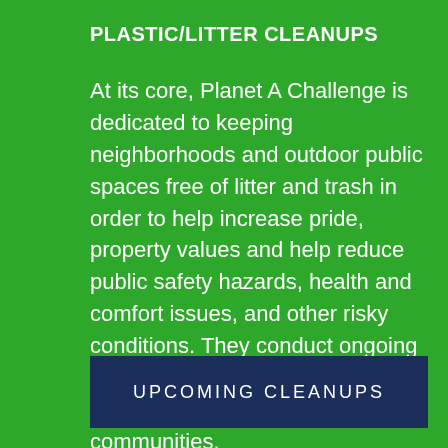PLASTIC/LITTER CLEANUPS
At its core, Planet A Challenge is dedicated to keeping neighborhoods and outdoor public spaces free of litter and trash in order to help increase pride, property values and help reduce public safety hazards, health and comfort issues, and other risky conditions. They conduct ongoing cleanups throughout Phoenix, Arizona, and its surrounding communities.
UPCOMING CLEANUPS